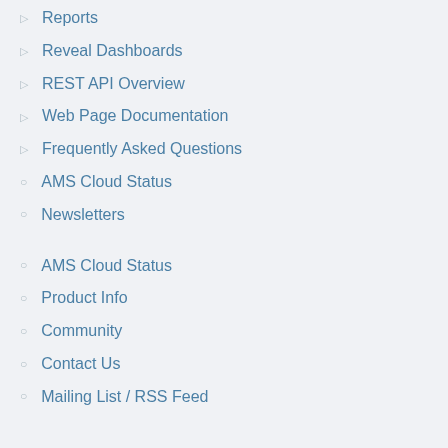Reports
Reveal Dashboards
REST API Overview
Web Page Documentation
Frequently Asked Questions
AMS Cloud Status
Newsletters
AMS Cloud Status
Product Info
Community
Contact Us
Mailing List / RSS Feed
previously changed pa...
Compare all pages in t... WebPageEN using on... differences. Copy rele... WebPagesEN files to t...
up
Printer-friendly version